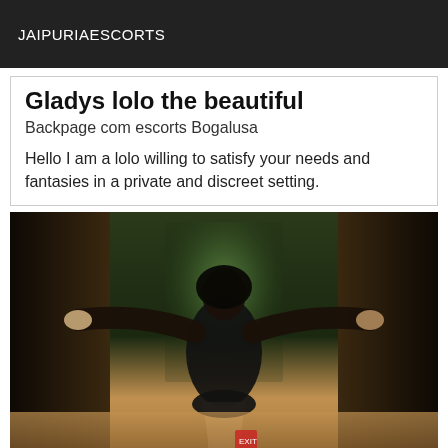JAIPURIAESCORTS
Gladys lolo the beautiful
Backpage com escorts Bogalusa
Hello I am a lolo willing to satisfy your needs and fantasies in a private and discreet setting.
[Figure (photo): A person with dark hair seen from behind, arms spread wide touching walls in a corridor, wearing a dark top and shorts, with warm ambient lighting and a window/door in background.]